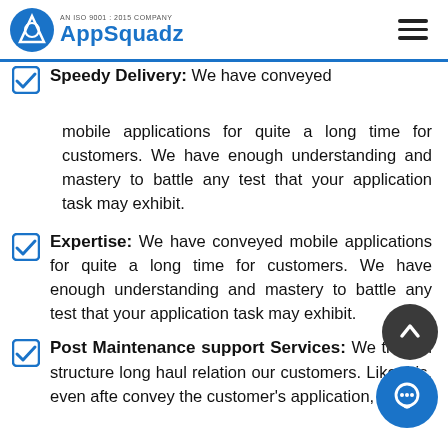AN ISO 9001 : 2015 COMPANY AppSquadz
Speedy Delivery: We have conveyed mobile applications for quite a long time for customers. We have enough understanding and mastery to battle any test that your application task may exhibit.
Expertise: We have conveyed mobile applications for quite a long time for customers. We have enough understanding and mastery to battle any test that your application task may exhibit.
Post Maintenance support Services: We trust in structure long haul relation our customers. Like this, even after convey the customer's application, we